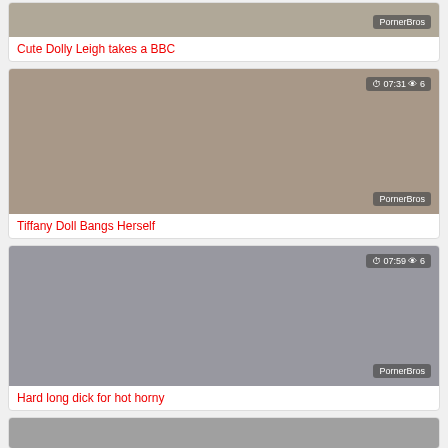[Figure (screenshot): Thumbnail image for video: Cute Dolly Leigh takes a BBC, with PornerBros watermark]
Cute Dolly Leigh takes a BBC
[Figure (screenshot): Thumbnail image for video: Tiffany Doll Bangs Herself, duration 07:31, views 6, with PornerBros watermark]
Tiffany Doll Bangs Herself
[Figure (screenshot): Thumbnail image for video: Hard long dick for hot horny, duration 07:59, views 6, with PornerBros watermark]
Hard long dick for hot horny
[Figure (screenshot): Partial thumbnail of a fourth video card at bottom]